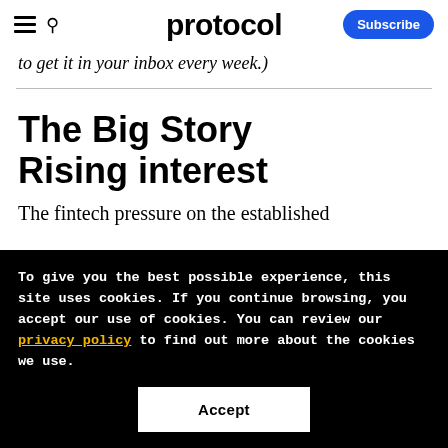protocol — Subscribe
to get it in your inbox every week.)
The Big Story
Rising interest
The fintech pressure on the established
To give you the best possible experience, this site uses cookies. If you continue browsing, you accept our use of cookies. You can review our privacy policy to find out more about the cookies we use.
Accept